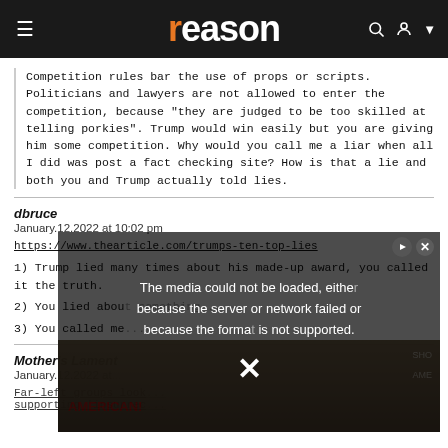reason
Competition rules bar the use of props or scripts. Politicians and lawyers are not allowed to enter the competition, because "they are judged to be too skilled at telling porkies". Trump would win easily but you are giving him some competition. Why would you call me a liar when all I did was post a fact checking site? How is that a lie and both you and Trump actually told lies.
dbruce
January.12.2022 at 10:02 pm
https://www.thearticle.com/trumps-ten-top-lies
1) Trump lied many times about his made-up award, you called it the truth.
2) You lied about...
3) You called me...
Mother's Lament
January.12.2022 at...
Far-left groups look... supporting 'insurrec...
[Figure (screenshot): Video error overlay: 'The media could not be loaded, either because the server or network failed or because the format is not supported.' with a close button and play button. Background shows a protest scene.]